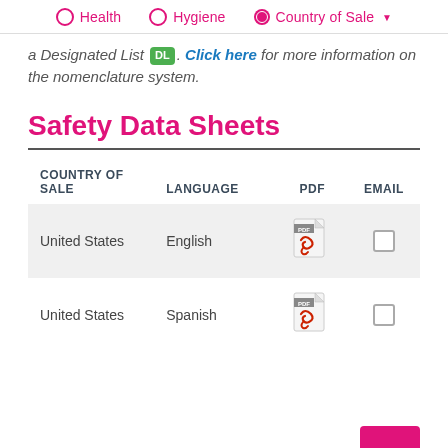Health   Hygiene   Country of Sale
a Designated List DL. Click here for more information on the nomenclature system.
Safety Data Sheets
| COUNTRY OF SALE | LANGUAGE | PDF | EMAIL |
| --- | --- | --- | --- |
| United States | English | [PDF icon] | ☐ |
| United States | Spanish | [PDF icon] | ☐ |